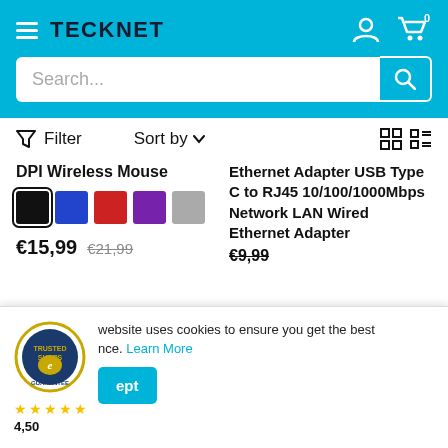TECKNET
Search...
Filter   Sort by
DPI Wireless Mouse
€15,99   €21,99
Ethernet Adapter USB Type C to RJ45 10/100/1000Mbps Network LAN Wired Ethernet Adapter
€9,99
This website uses cookies to ensure you get the best experience. Learn More
4,50